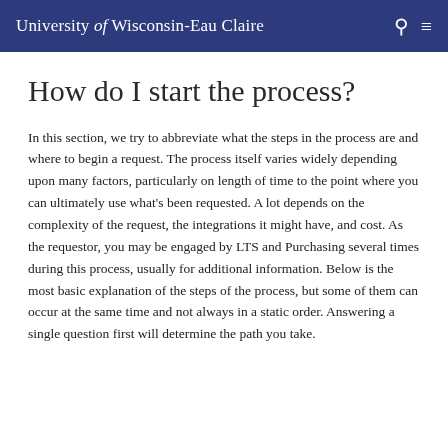University of Wisconsin-Eau Claire
How do I start the process?
In this section, we try to abbreviate what the steps in the process are and where to begin a request. The process itself varies widely depending upon many factors, particularly on length of time to the point where you can ultimately use what's been requested. A lot depends on the complexity of the request, the integrations it might have, and cost. As the requestor, you may be engaged by LTS and Purchasing several times during this process, usually for additional information. Below is the most basic explanation of the steps of the process, but some of them can occur at the same time and not always in a static order. Answering a single question first will determine the path you take.